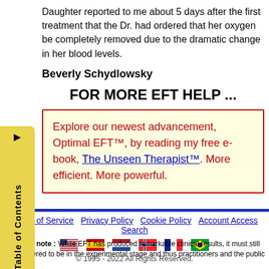Daughter reported to me about 5 days after the first treatment that the Dr. had ordered that her oxygen be completely removed due to the dramatic change in her blood levels.
Beverly Schydlowsky
FOR MORE EFT HELP ...
Explore our newest advancement, Optimal EFT™, by reading my free e-book, The Unseen Therapist™. More efficient. More powerful.
Terms of Service  Privacy Policy  Cookie Policy  Account Access  Search
© 1995 - 2022 All Rights Reserved.
Important note : While EFT has produced remarkable clinical results, it must still be considered to be in the experimental stage and thus practitioners and the public must